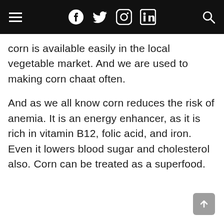Navigation header with hamburger menu, social icons (Facebook, Twitter, Instagram, LinkedIn), and search icon
corn is available easily in the local vegetable market. And we are used to making corn chaat often.
And as we all know corn reduces the risk of anemia. It is an energy enhancer, as it is rich in vitamin B12, folic acid, and iron. Even it lowers blood sugar and cholesterol also. Corn can be treated as a superfood.